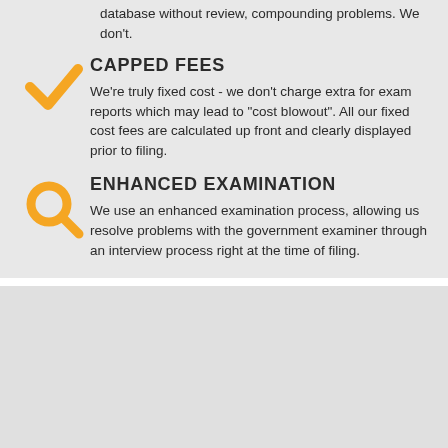database without review, compounding problems. We don't.
CAPPED FEES
We're truly fixed cost - we don't charge extra for exam reports which may lead to "cost blowout". All our fixed cost fees are calculated up front and clearly displayed prior to filing.
ENHANCED EXAMINATION
We use an enhanced examination process, allowing us resolve problems with the government examiner through an interview process right at the time of filing.
How